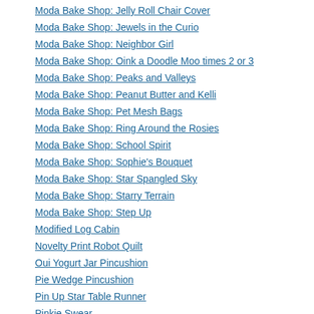Moda Bake Shop: Jelly Roll Chair Cover
Moda Bake Shop: Jewels in the Curio
Moda Bake Shop: Neighbor Girl
Moda Bake Shop: Oink a Doodle Moo times 2 or 3
Moda Bake Shop: Peaks and Valleys
Moda Bake Shop: Peanut Butter and Kelli
Moda Bake Shop: Pet Mesh Bags
Moda Bake Shop: Ring Around the Rosies
Moda Bake Shop: School Spirit
Moda Bake Shop: Sophie's Bouquet
Moda Bake Shop: Star Spangled Sky
Moda Bake Shop: Starry Terrain
Moda Bake Shop: Step Up
Modified Log Cabin
Novelty Print Robot Quilt
Oui Yogurt Jar Pincushion
Pie Wedge Pincushion
Pin Up Star Table Runner
Pinkie Swear